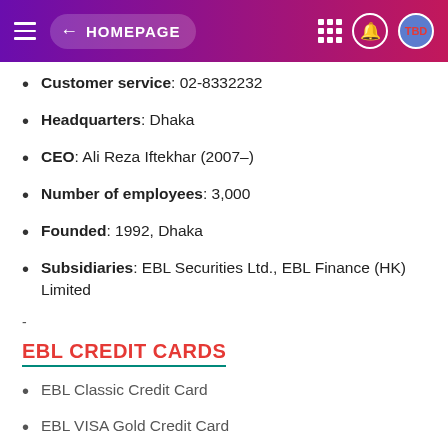← HOMEPAGE
Customer service: 02-8332232
Headquarters: Dhaka
CEO: Ali Reza Iftekhar (2007–)
Number of employees: 3,000
Founded: 1992, Dhaka
Subsidiaries: EBL Securities Ltd., EBL Finance (HK) Limited
EBL CREDIT CARDS
EBL Classic Credit Card
EBL VISA Gold Credit Card
EBL VISA Platinum Credit Card
Signature
Diners Club Credit Card